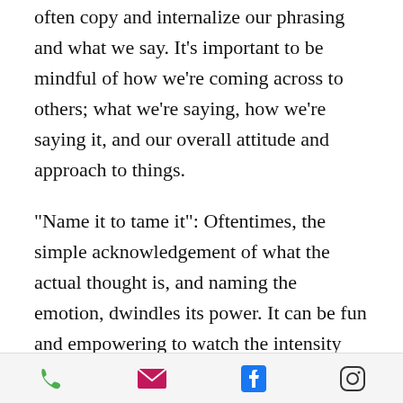often copy and internalize our phrasing and what we say. It's important to be mindful of how we're coming across to others; what we're saying, how we're saying it, and our overall attitude and approach to things.
“Name it to tame it”: Oftentimes, the simple acknowledgement of what the actual thought is, and naming the emotion, dwindles its power. It can be fun and empowering to watch the intensity wash away. Teaching kids to name their emotions can help them be easier on themselves and feel more in control. Try visualizing your thoughts and emotions fading away, like
[phone] [email] [facebook] [instagram]